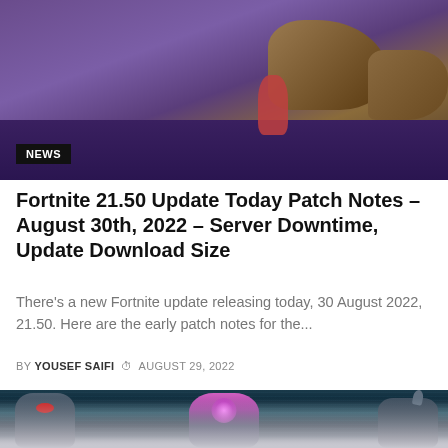[Figure (screenshot): Fortnite game screenshot showing a purple/orange landscape with a character and NEWS badge overlay]
Fortnite 21.50 Update Today Patch Notes – August 30th, 2022 – Server Downtime, Update Download Size
There's a new Fortnite update releasing today, 30 August 2022, 21.50. Here are the early patch notes for the...
BY YOUSEF SAIFI  © AUGUST 29, 2022
[Figure (screenshot): Fortnite game artwork showing three armored characters including a pink cat-like figure in the center with glowing gem, flanked by two dark armored characters]